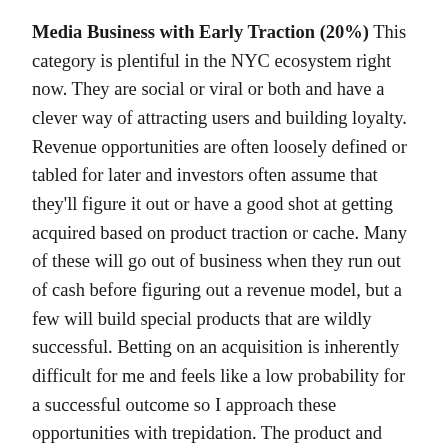Media Business with Early Traction (20%) This category is plentiful in the NYC ecosystem right now. They are social or viral or both and have a clever way of attracting users and building loyalty. Revenue opportunities are often loosely defined or tabled for later and investors often assume that they'll figure it out or have a good shot at getting acquired based on product traction or cache. Many of these will go out of business when they run out of cash before figuring out a revenue model, but a few will build special products that are wildly successful. Betting on an acquisition is inherently difficult for me and feels like a low probability for a successful outcome so I approach these opportunities with trepidation. The product and